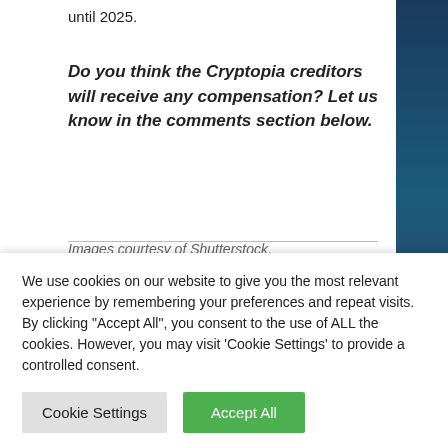until 2025.
Do you think the Cryptopia creditors will receive any compensation? Let us know in the comments section below.
Images courtesy of Shutterstock.
Did you know you can verify any unconfirmed
We use cookies on our website to give you the most relevant experience by remembering your preferences and repeat visits. By clicking "Accept All", you consent to the use of ALL the cookies. However, you may visit 'Cookie Settings' to provide a controlled consent.